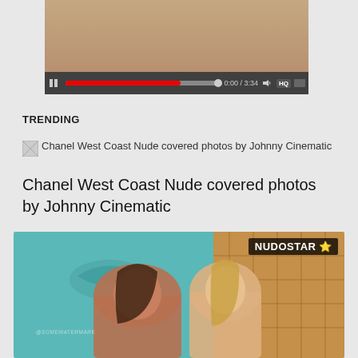[Figure (screenshot): Video player showing a thumbnail with playback controls bar: pause button, red progress bar at about 75%, time display 0:00/3:34, volume icon, HQ button, and settings icon]
TRENDING
[Figure (screenshot): Small broken image thumbnail placeholder next to text link]
Chanel West Coast Nude covered photos by Johnny Cinematic
Chanel West Coast Nude covered photos by Johnny Cinematic
[Figure (photo): Photo of two women in bikinis near a pool with a mural backdrop, with NUDOSTAR star watermark in the top right corner]